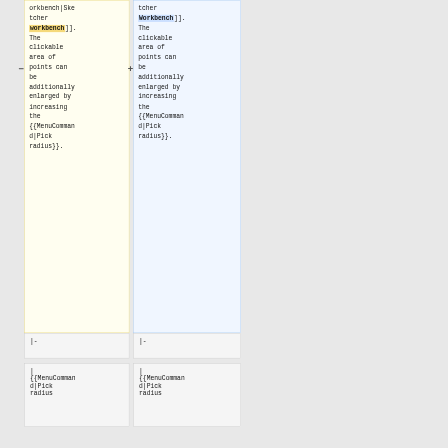orkbench|Sketcher workbench]]. The clickable area of points can be additionally enlarged by increasing the {{MenuCommand|Pick radius}}.
tcher Workbench]]. The clickable area of points can be additionally enlarged by increasing the {{MenuCommand|Pick radius}}.
|-
|-
| {{MenuCommand|Pick radius
| {{MenuCommand|Pick radius